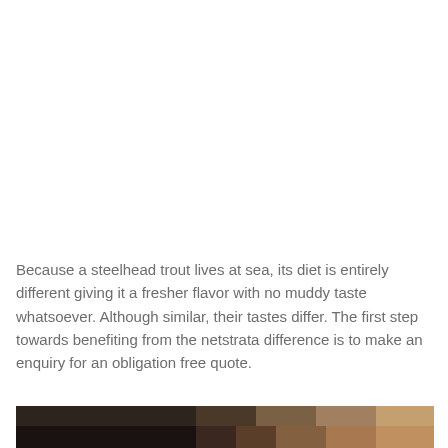Because a steelhead trout lives at sea, its diet is entirely different giving it a fresher flavor with no muddy taste whatsoever. Although similar, their tastes differ. The first step towards benefiting from the netstrata difference is to make an enquiry for an obligation free quote.
[Figure (photo): Bottom portion of a photo showing what appears to be a person, with dark and warm tan/brown tones visible at the bottom of the page.]